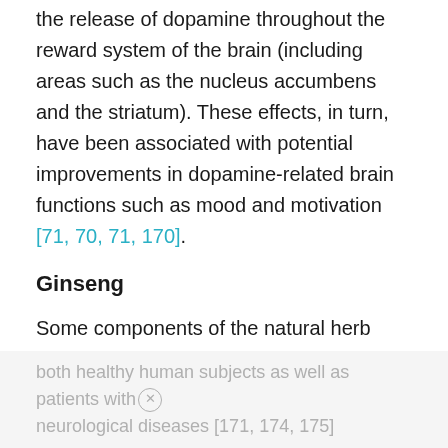the release of dopamine throughout the reward system of the brain (including areas such as the nucleus accumbens and the striatum). These effects, in turn, have been associated with potential improvements in dopamine-related brain functions such as mood and motivation [71, 70, 71, 170].
Ginseng
Some components of the natural herb Ginseng have been reported to increase levels of dopamine in the brain in multiple animal studies [171, 172, 173].
These effects have, in turn, been associated with beneficial effects on attention, cognitive processing, sensorimotor function and auditory reaction time in both healthy human subjects as well as patients with neurological diseases [171, 174, 175].